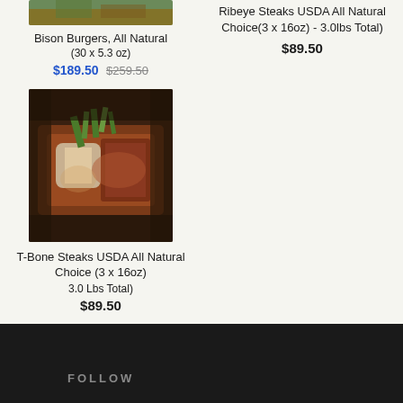[Figure (photo): Partial product image of Bison Burgers at top of left column]
Bison Burgers, All Natural
(30 x 5.3 oz)
$189.50 $259.50
[Figure (photo): T-Bone steak with herb garnish on dark surface]
T-Bone Steaks USDA All Natural Choice (3 x 16oz) 3.0 Lbs Total)
$89.50
Ribeye Steaks USDA All Natural Choice(3 x 16oz) - 3.0lbs Total)
$89.50
FOLLOW